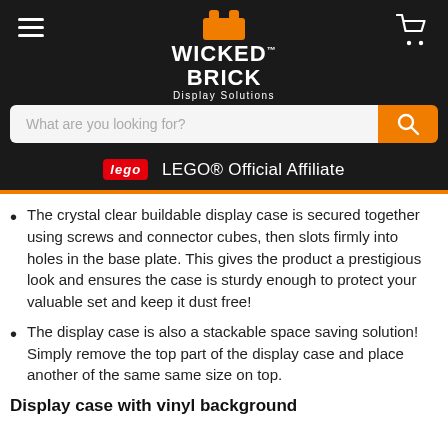[Figure (logo): Wicked Brick Display Solutions logo with hamburger menu icon and shopping cart icon on dark background]
[Figure (screenshot): Search bar with placeholder 'What are you looking for?' and orange search button]
[Figure (logo): LEGO® Official Affiliate badge on dark background]
The crystal clear buildable display case is secured together using screws and connector cubes, then slots firmly into holes in the base plate. This gives the product a prestigious look and ensures the case is sturdy enough to protect your valuable set and keep it dust free!
The display case is also a stackable space saving solution! Simply remove the top part of the display case and place another of the same same size on top.
Display case with vinyl background